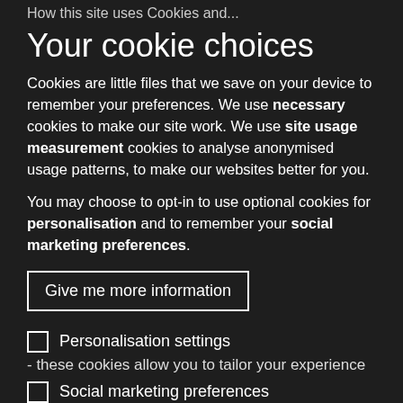How this site uses Cookies and...
Your cookie choices
Cookies are little files that we save on your device to remember your preferences. We use necessary cookies to make our site work. We use site usage measurement cookies to analyse anonymised usage patterns, to make our websites better for you.
You may choose to opt-in to use optional cookies for personalisation and to remember your social marketing preferences.
Give me more information
Personalisation settings
- these cookies allow you to tailor your experience
Social marketing preferences
- these cookies do things like measure how you view